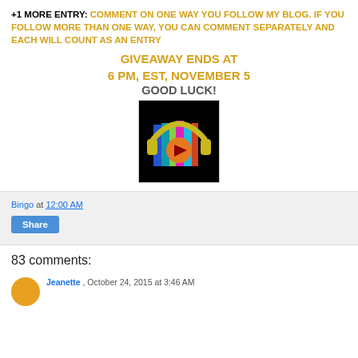+1 MORE ENTRY: COMMENT ON ONE WAY YOU FOLLOW MY BLOG. IF YOU FOLLOW MORE THAN ONE WAY, YOU CAN COMMENT SEPARATELY AND EACH WILL COUNT AS AN ENTRY
GIVEAWAY ENDS AT 6 PM, EST, NOVEMBER 5
GOOD LUCK!
[Figure (illustration): Audiobook logo: colorful books with headphones and a play button on black background]
Bingo at 12:00 AM
Share
83 comments:
Jeanette, October 24, 2015 at 3:46 AM